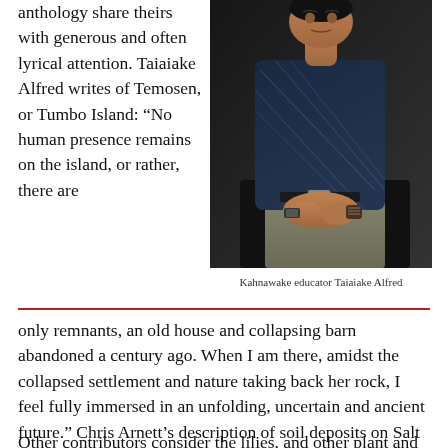anthology share theirs with generous and often lyrical attention. Taiaiake Alfred writes of Temosen, or Tumbo Island: “No human presence remains on the island, or rather, there are only remnants, an old house and collapsing barn abandoned a century ago. When I am there, amidst the collapsed settlement and nature taking back her rock, I feel fully immersed in an unfolding, uncertain and ancient future.” Chris Arnett’s description of soil deposits on Salt Spring Island echoes this sense of deep history: “People have lived on Salt Spring Island for so long that there is a soil type called Neptune that is the accumulated dark sediment of people and their activities in a single location over thousands of years. Some of these deposits are meters deep and cover acres of land.”
[Figure (photo): Dark portrait photo of Kahnawake educator Taiaiake Alfred, seated, wearing a patterned dark shirt with clasped hands]
Kahnawake educator Taiaiake Alfred
Other contributors consider the lilies, and other plant and